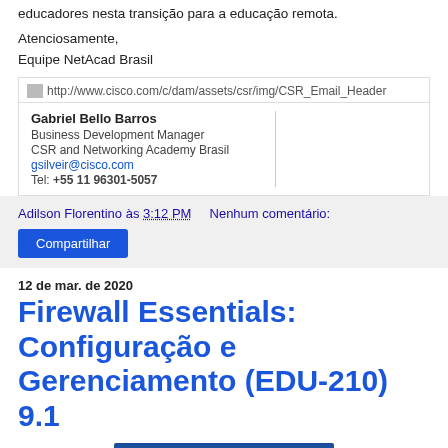educadores nesta transição para a educação remota.
Atenciosamente,
Equipe NetAcad Brasil
[Figure (other): Email signature card with Cisco CSR header image and contact details for Gabriel Bello Barros, Business Development Manager, CSR and Networking Academy Brasil. Email: gsilveir@cisco.com, Tel: +55 11 96301-5057]
Adilson Florentino às 3:12 PM    Nenhum comentário:
Compartilhar
12 de mar. de 2020
Firewall Essentials: Configuração e Gerenciamento (EDU-210) 9.1
[Figure (other): Blue banner/thumbnail image at the bottom of the page]